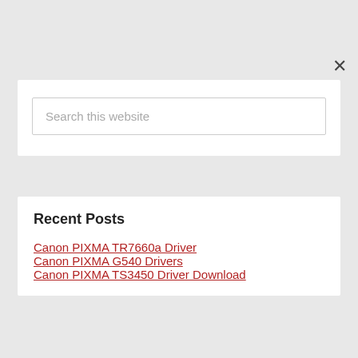×
Search this website
Recent Posts
Canon PIXMA TR7660a Driver
Canon PIXMA G540 Drivers
Canon PIXMA TS3450 Driver Download